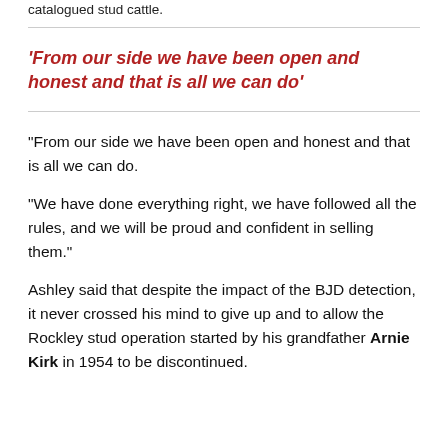catalogued stud cattle.
'From our side we have been open and honest and that is all we can do'
“From our side we have been open and honest and that is all we can do.

“We have done everything right, we have followed all the rules, and we will be proud and confident in selling them.”

Ashley said that despite the impact of the BJD detection, it never crossed his mind to give up and to allow the Rockley stud operation started by his grandfather Arnie Kirk in 1954 to be discontinued.